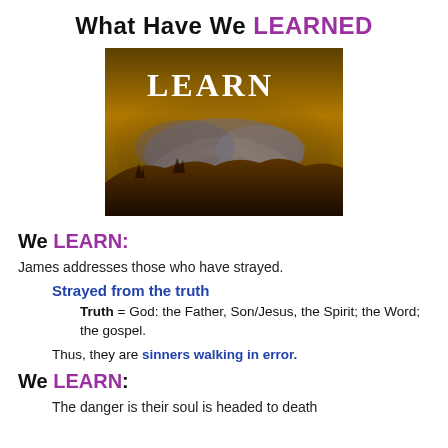What Have We LEARNED
[Figure (photo): Dark dramatic sky with rainbow and hill landscape, overlaid with the word LEARN in white text]
We LEARN:
James addresses those who have strayed.
Strayed from the truth
Truth = God: the Father, Son/Jesus, the Spirit; the Word; the gospel.
Thus, they are sinners walking in error.
We LEARN:
The danger is their soul is headed to death